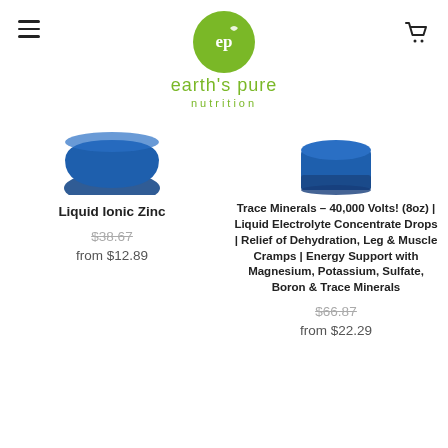[Figure (logo): Earth's Pure Nutrition logo: green circle with 'ep' text and leaf, with brand name below in green]
[Figure (photo): Partial product image of Liquid Ionic Zinc - blue container, bottom portion visible]
Liquid Ionic Zinc
$38.67 (strikethrough original price)
from $12.89
[Figure (photo): Partial product image of Trace Minerals 40,000 Volts - blue container, bottom portion visible]
Trace Minerals – 40,000 Volts! (8oz) | Liquid Electrolyte Concentrate Drops | Relief of Dehydration, Leg & Muscle Cramps | Energy Support with Magnesium, Potassium, Sulfate, Boron & Trace Minerals
$66.87 (strikethrough original price)
from $22.29